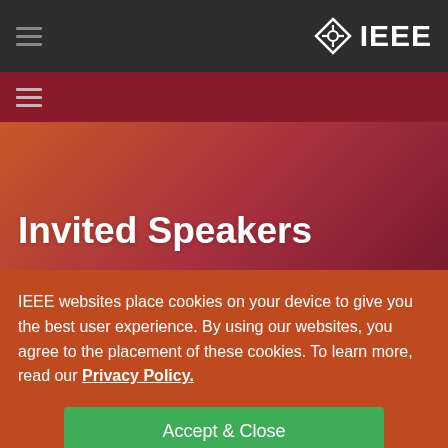[Figure (logo): IEEE logo with diamond compass icon and white IEEE text on dark gray navigation bar]
Invited Speakers
IEEE websites place cookies on your device to give you the best user experience. By using our websites, you agree to the placement of these cookies. To learn more, read our Privacy Policy.
Accept & Close